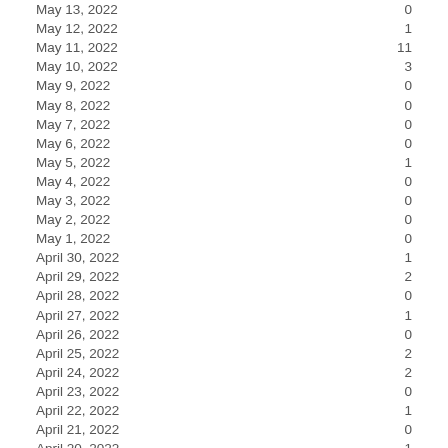| Date | Count |
| --- | --- |
| May 13, 2022 | 0 |
| May 12, 2022 | 1 |
| May 11, 2022 | 11 |
| May 10, 2022 | 3 |
| May 9, 2022 | 0 |
| May 8, 2022 | 0 |
| May 7, 2022 | 0 |
| May 6, 2022 | 0 |
| May 5, 2022 | 1 |
| May 4, 2022 | 0 |
| May 3, 2022 | 0 |
| May 2, 2022 | 0 |
| May 1, 2022 | 0 |
| April 30, 2022 | 1 |
| April 29, 2022 | 2 |
| April 28, 2022 | 0 |
| April 27, 2022 | 1 |
| April 26, 2022 | 0 |
| April 25, 2022 | 2 |
| April 24, 2022 | 2 |
| April 23, 2022 | 0 |
| April 22, 2022 | 1 |
| April 21, 2022 | 0 |
| April 20, 2022 | 1 |